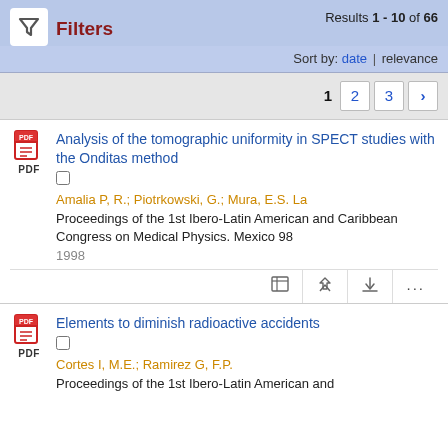Results 1 - 10 of 66
Filters
Sort by: date | relevance
1 2 3 >
Analysis of the tomographic uniformity in SPECT studies with the Onditas method
Amalia P, R.; Piotrkowski, G.; Mura, E.S. La
Proceedings of the 1st Ibero-Latin American and Caribbean Congress on Medical Physics. Mexico 98
1998
Elements to diminish radioactive accidents
Cortes I, M.E.; Ramirez G, F.P.
Proceedings of the 1st Ibero-Latin American and